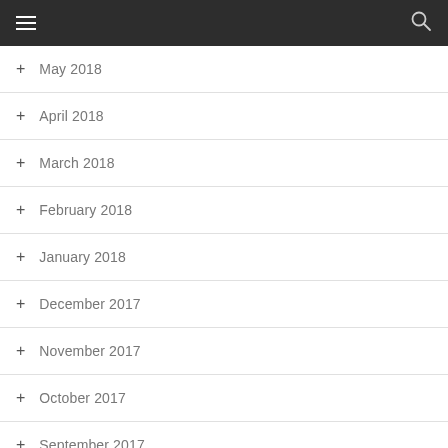Navigation menu with hamburger icon and search icon
+ May 2018
+ April 2018
+ March 2018
+ February 2018
+ January 2018
+ December 2017
+ November 2017
+ October 2017
+ September 2017